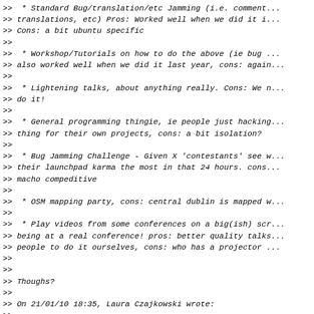>> * Standard Bug/translation/etc Jamming (i.e. comment... translations, etc) Pros: Worked well when we did it i... >> Cons: a bit ubuntu specific
>> * Workshop/Tutorials on how to do the above (ie bug... >> also worked well when we did it last year, cons: again...
>> * Lightening talks, about anything really. Cons: We n... >> do it!
>> * General programming thingie, ie people just hacking... >> thing for their own projects, cons: a bit isolation?
>> * Bug Jamming Challenge - Given X 'contestants' see w... >> their launchpad karma the most in that 24 hours. cons... >> macho compeditive
>> * OSM mapping party, cons: central dublin is mapped w...
>> * Play videos from some conferences on a big(ish) sc... >> being at a real conference! pros: better quality talks... >> people to do it ourselves, cons: who has a projector...
>>
>>
>> Thoughs?
>>
>> On 21/01/10 18:35, Laura Czajkowski wrote:
>>
>>> Aloha!
>>>